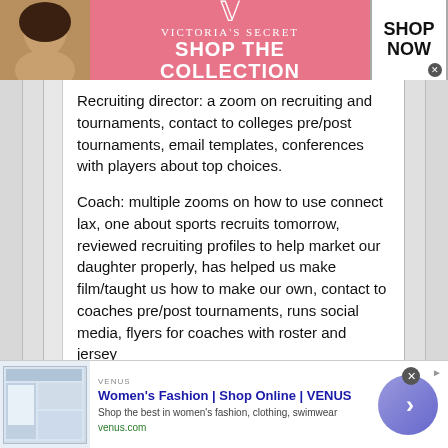[Figure (other): Victoria's Secret advertisement banner: pink background with woman's face on left, VS logo in center, 'SHOP THE COLLECTION' text, and 'SHOP NOW' button on right]
Recruiting director: a zoom on recruiting and tournaments, contact to colleges pre/post tournaments, email templates, conferences with players about top choices.
Coach: multiple zooms on how to use connect lax, one about sports recruits tomorrow, reviewed recruiting profiles to help market our daughter properly, has helped us make film/taught us how to make our own, contact to coaches pre/post tournaments, runs social media, flyers for coaches with roster and jersey
[Figure (other): Venus women's fashion advertisement: thumbnail of website screenshot on left, 'Women's Fashion | Shop Online | VENUS' title in blue, description text, venus.com URL in green, purple circle arrow button on right]